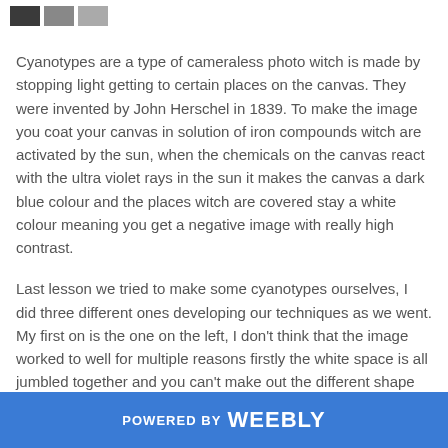[color swatches: dark, mid, light gray]
Cyanotypes are a type of cameraless photo witch is made by stopping light getting to certain places on the canvas. They were invented by John Herschel in 1839. To make the image you coat your canvas in solution of iron compounds witch are activated by the sun, when the chemicals on the canvas react with the ultra violet rays in the sun it makes the canvas a dark blue colour and the places witch are covered stay a white colour meaning you get a negative image with really high contrast.
Last lesson we tried to make some cyanotypes ourselves, I did three different ones developing our techniques as we went. My first on is the one on the left, I don't think that the image worked to well for multiple reasons firstly the white space is all jumbled together and you can't make out the different shape within the image also the image didn't have
POWERED BY weebly